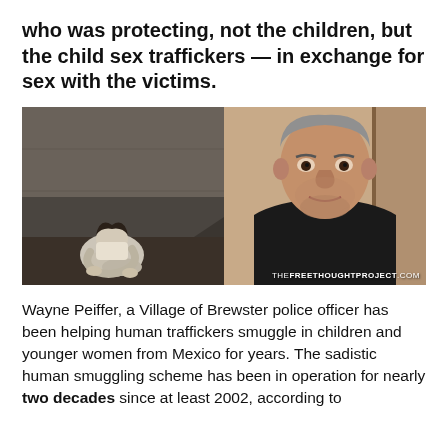who was protecting, not the children, but the child sex traffickers — in exchange for sex with the victims.
[Figure (photo): Composite photo: left side shows a black-and-white image of a young girl sitting huddled with knees drawn up in a dark corner; right side shows a color photo of a heavy-set middle-aged man with grey hair wearing a dark shirt. Watermark reads THEFREETHOUGHTPROJECT.COM]
Wayne Peiffer, a Village of Brewster police officer has been helping human traffickers smuggle in children and younger women from Mexico for years. The sadistic human smuggling scheme has been in operation for nearly two decades since at least 2002, according to